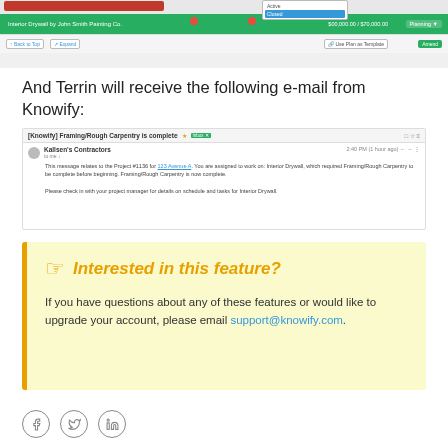[Figure (screenshot): Screenshot of Knowify project management interface showing a dropdown with Active/Closed options and a green project bar with status and amount]
And Terrin will receive the following e-mail from Knowify:
[Figure (screenshot): Screenshot of an email from Kallsen's Contractors with subject '[Knowify] Framing/Rough Carpentry is complete', notifying about a completed prerequisite task for Interior Drywall project]
Interested in this feature?

If you have questions about any of these features or would like to upgrade your account, please email support@knowify.com.